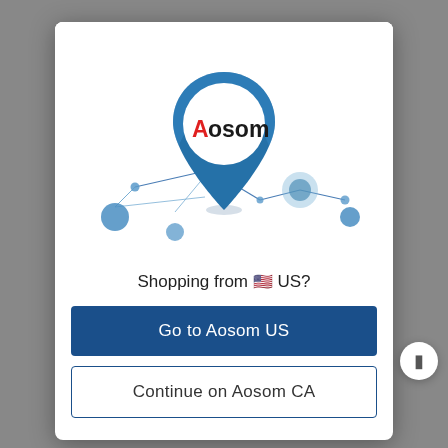[Figure (illustration): Aosom logo on a blue map location pin marker, with a stylized network/map illustration showing connected dots and lines below the pin, on a white background.]
Shopping from 🇺🇸 US?
Go to Aosom US
Continue on Aosom CA